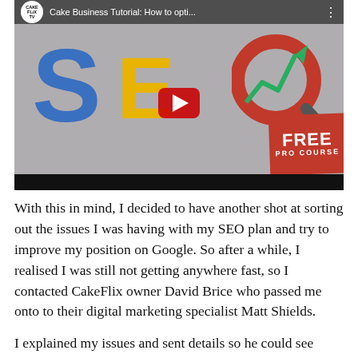[Figure (screenshot): YouTube video thumbnail for 'Cake Business Tutorial: How to opti...' by CakeFlix TV. Shows SEO text with large blue S, yellow E, and a red magnifying glass O with a green upward trending arrow. A red YouTube play button is centered. Bottom-right corner has a red 'FREE PRO COURSE' banner. A black progress bar spans the bottom.]
With this in mind, I decided to have another shot at sorting out the issues I was having with my SEO plan and try to improve my position on Google. So after a while, I realised I was still not getting anywhere fast, so I contacted CakeFlix owner David Brice who passed me onto to their digital marketing specialist Matt Shields.
I explained my issues and sent details so he could see what I was trying, badly, to say. Matt was great and wasted no time